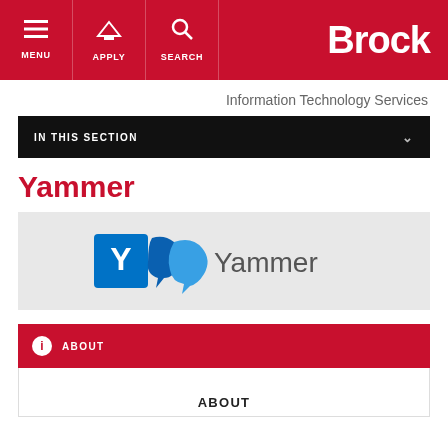MENU | APPLY | SEARCH | Brock
Information Technology Services
IN THIS SECTION
Yammer
[Figure (logo): Yammer logo with blue 'Y' icon and the word 'Yammer' in gray text on a light gray background]
ABOUT
ABOUT